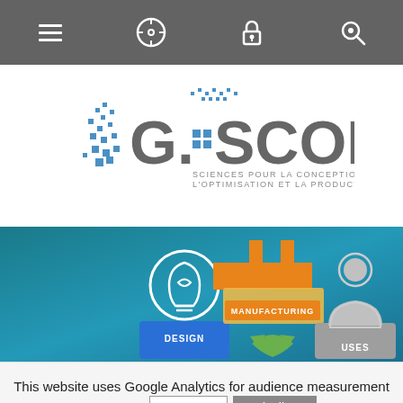Navigation bar with menu, compass, lock, and search icons
[Figure (logo): G-SCOP logo — Sciences pour la conception, l'optimisation et la production — with blue dot pattern and grey lettering]
[Figure (infographic): Teal banner showing three product lifecycle icons: DESIGN (lightbulb, blue), MANUFACTURING (factory with orange crown), and USES (person silhouette, grey), with a green recycling arrow icon partially visible]
This website uses Google Analytics for audience measurement purposes.
I accept
I decline